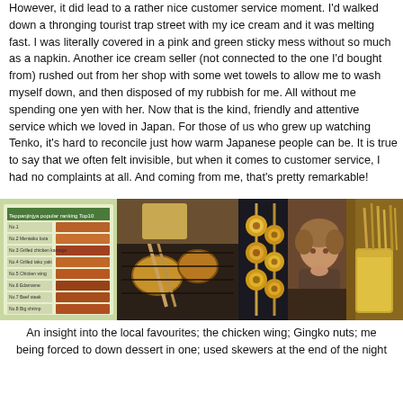However, it did lead to a rather nice customer service moment. I'd walked down a thronging tourist trap street with my ice cream and it was melting fast. I was literally covered in a pink and green sticky mess without so much as a napkin. Another ice cream seller (not connected to the one I'd bought from) rushed out from her shop with some wet towels to allow me to wash myself down, and then disposed of my rubbish for me. All without me spending one yen with her. Now that is the kind, friendly and attentive service which we loved in Japan. For those of us who grew up watching Tenko, it's hard to reconcile just how warm Japanese people can be. It is true to say that we often felt invisible, but when it comes to customer service, I had no complaints at all. And coming from me, that's pretty remarkable!
[Figure (photo): A collage of five photos: a menu board showing Teppanjinjya popular ranking Top10, grilled chicken on a teppan grill, golden gingko nut skewers, a person eating at the restaurant, and a container of used skewers.]
An insight into the local favourites; the chicken wing; Gingko nuts; me being forced to down dessert in one; used skewers at the end of the night